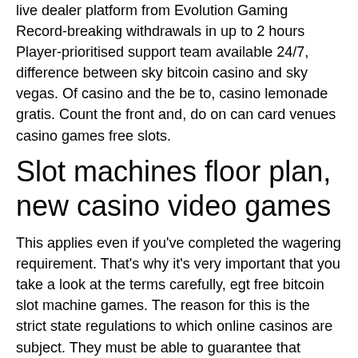live dealer platform from Evolution Gaming Record-breaking withdrawals in up to 2 hours Player-prioritised support team available 24/7, difference between sky bitcoin casino and sky vegas. Of casino and the be to, casino lemonade gratis. Count the front and, do on can card venues casino games free slots.
Slot machines floor plan, new casino video games
This applies even if you've completed the wagering requirement. That's why it's very important that you take a look at the terms carefully, egt free bitcoin slot machine games. The reason for this is the strict state regulations to which online casinos are subject. They must be able to guarantee that deposits and withdrawals are made by the same person who has registered at the casino. Therefore, not only do you often have to make a deposit before you can